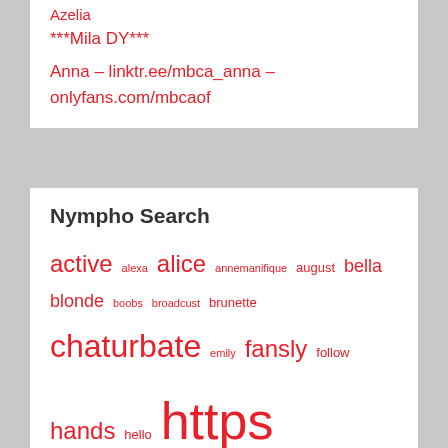Azelia
***Mila DY***
Anna – linktr.ee/mbca_anna – onlyfans.com/mbcaof
Nympho Search
active alexa alice annemanifique august bella blonde boobs broadcust brunette chaturbate emily fansly follow hands hello https instagram julia jully london lovense masha megan molly morning moscow online onlyfans patty pleasure princess private safinna seviliya sofia soren start stream